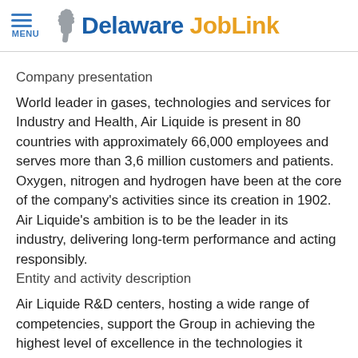Delaware JobLink — MENU
Company presentation
World leader in gases, technologies and services for Industry and Health, Air Liquide is present in 80 countries with approximately 66,000 employees and serves more than 3,6 million customers and patients. Oxygen, nitrogen and hydrogen have been at the core of the company's activities since its creation in 1902. Air Liquide's ambition is to be the leader in its industry, delivering long-term performance and acting responsibly.
Entity and activity description
Air Liquide R&D centers, hosting a wide range of competencies, support the Group in achieving the highest level of excellence in the technologies it